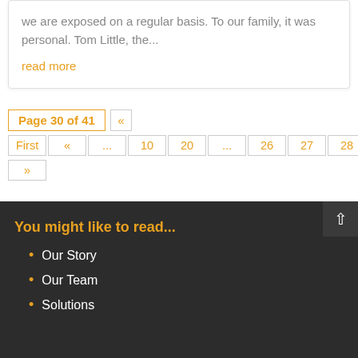we are exposed on a regular basis. To our family, it was personal. Tom Little, the...
read more
Page 30 of 41  «  First  «  ...  10  20  ...  26  27  28  29  30  31  »
You might like to read...
Our Story
Our Team
Solutions